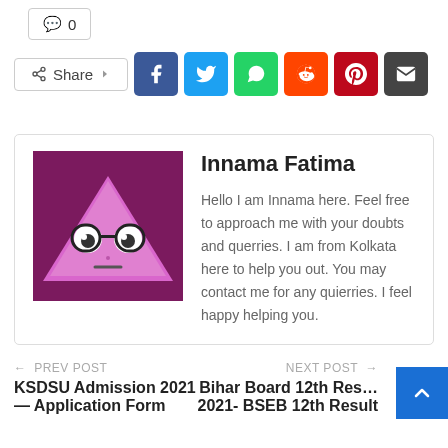💬 0
[Figure (infographic): Share bar with Facebook, Twitter, WhatsApp, Reddit, Pinterest, and Email social media icons]
[Figure (illustration): Author avatar: purple background with cartoon triangle character wearing glasses]
Innama Fatima
Hello I am Innama here. Feel free to approach me with your doubts and querries. I am from Kolkata here to help you out. You may contact me for any quierries. I feel happy helping you.
← PREV POST
KSDSU Admission 2021 — Application Form
NEXT POST →
Bihar Board 12th Res…
2021- BSEB 12th Result